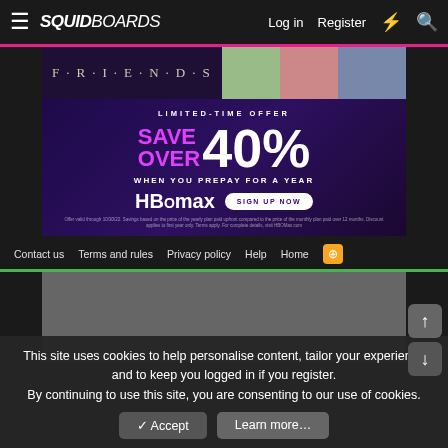SQUIDBOARDS — Log in | Register
[Figure (screenshot): FRIENDS TV show banner with photos]
[Figure (screenshot): HBO Max advertisement: LIMITED-TIME OFFER SAVE OVER 40% WHEN YOU PREPAY FOR A YEAR. Sign up now button. Fine print about offer validity.]
Contact us | Terms and rules | Privacy policy | Help | Home | RSS
[Figure (screenshot): Gray advertisement placeholder box]
This site uses cookies to help personalise content, tailor your experience and to keep you logged in if you register. By continuing to use this site, you are consenting to our use of cookies.
✓ Accept   Learn more…